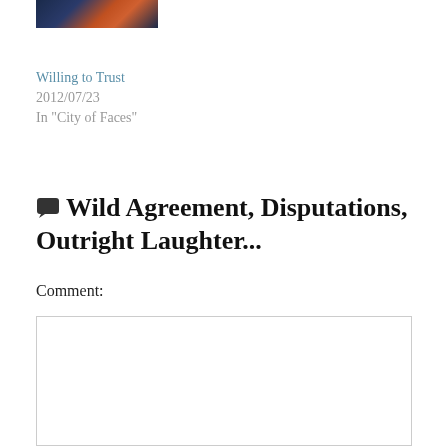[Figure (photo): Partial thumbnail image showing warm orange/red tones against a dark blue background]
Willing to Trust
2012/07/23
In "City of Faces"
💬 Wild Agreement, Disputations, Outright Laughter...
Comment: